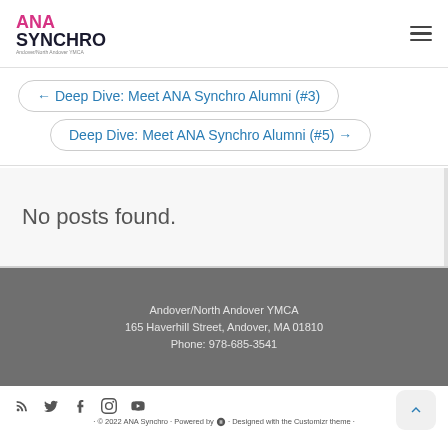ANA SYNCHRO — Andover/North Andover YMCA
← Deep Dive: Meet ANA Synchro Alumni (#3)
Deep Dive: Meet ANA Synchro Alumni (#5) →
No posts found.
Andover/North Andover YMCA
165 Haverhill Street, Andover, MA 01810
Phone: 978-685-3541
· © 2022 ANA Synchro · Powered by · Designed with the Customizr theme ·